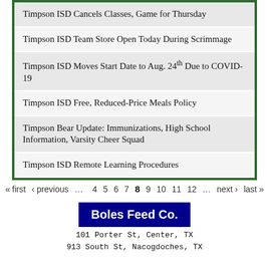Timpson ISD Cancels Classes, Game for Thursday
Timpson ISD Team Store Open Today During Scrimmage
Timpson ISD Moves Start Date to Aug. 24th Due to COVID-19
Timpson ISD Free, Reduced-Price Meals Policy
Timpson Bear Update: Immunizations, High School Information, Varsity Cheer Squad
Timpson ISD Remote Learning Procedures
« first  ‹ previous  …  4  5  6  7  8  9  10  11  12  …  next ›  last »
[Figure (logo): Boles Feed Co. logo - white bold text on dark blue background with dark blue border]
101 Porter St, Center, TX
913 South St, Nacogdoches, TX